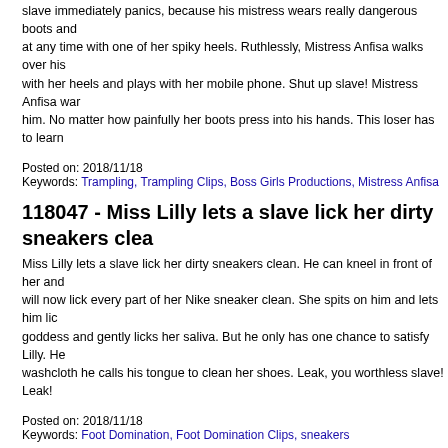slave immediately panics, because his mistress wears really dangerous boots and at any time with one of her spiky heels. Ruthlessly, Mistress Anfisa walks over his with her heels and plays with her mobile phone. Shut up slave! Mistress Anfisa war him. No matter how painfully her boots press into his hands. This loser has to learn
Posted on: 2018/11/18
Keywords: Trampling, Trampling Clips, Boss Girls Productions, Mistress Anfisa
118047 - Miss Lilly lets a slave lick her dirty sneakers clea
Miss Lilly lets a slave lick her dirty sneakers clean. He can kneel in front of her and will now lick every part of her Nike sneaker clean. She spits on him and lets him lic goddess and gently licks her saliva. But he only has one chance to satisfy Lilly. He washcloth he calls his tongue to clean her shoes. Leak, you worthless slave! Leak!
Posted on: 2018/11/18
Keywords: Foot Domination, Foot Domination Clips, sneakers
95215 - Amber's special breath control!
First Amber starts it slowly and shows the loser her sexy butt. But only few momen at his face! Such a facesitting loser can be used for nothing else! Amber controls hi butt from now on - and lets him know what she thinks about him...!
Posted on: 2018/11/18
Keywords: Facesitting, Facesitting Clips, Boss Girls Productions, facesitting, smother, face arsch, sitzkissen
86390 - He has to smell Anny's ass
Anny wants to sit down at the face of this loser now! She wears sexy underwear an at his mug - with her legs spread wide! From time to time she allows him to shortly But then shortly after she continues her another torture again and the slave will b